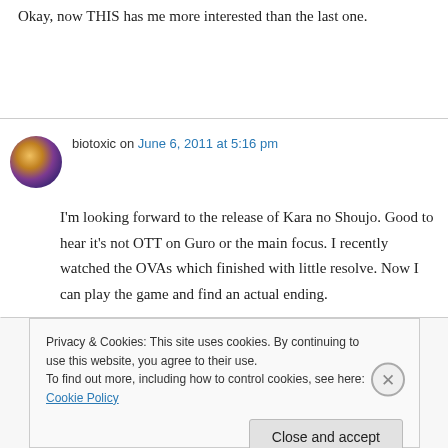Okay, now THIS has me more interested than the last one.
biotoxic on June 6, 2011 at 5:16 pm
I'm looking forward to the release of Kara no Shoujo. Good to hear it's not OTT on Guro or the main focus. I recently watched the OVAs which finished with little resolve. Now I can play the game and find an actual ending.
Privacy & Cookies: This site uses cookies. By continuing to use this website, you agree to their use.
To find out more, including how to control cookies, see here: Cookie Policy
Close and accept